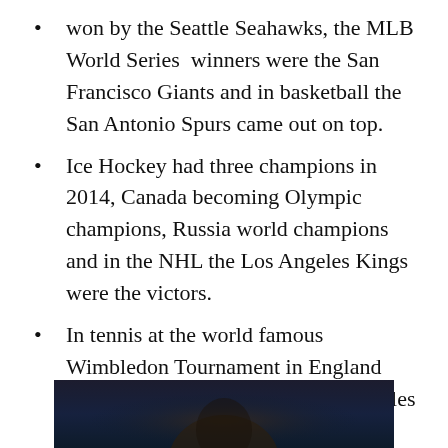won by the Seattle Seahawks, the MLB World Series  winners were the San Francisco Giants and in basketball the San Antonio Spurs came out on top.
Ice Hockey had three champions in 2014, Canada becoming Olympic champions, Russia world champions and in the NHL the Los Angeles Kings were the victors.
In tennis at the world famous Wimbledon Tournament in England Novak Djokovic became Men’s Singles Champion and Petra Kvitova Ladies Singles Champion, while the men’s and women’s winners of the US Open were Marin Čilić  and Serena Williams respectively.
[Figure (photo): Bottom portion of a photo showing a dark image, partially cropped, appearing to show a person or persons, visible only at the very bottom of the page.]